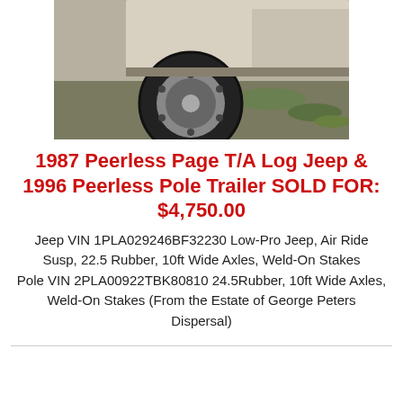[Figure (photo): Partial photograph of a trailer or truck showing a large wheel/tire on gravel/grass ground, vehicle body visible at top, outdoor setting.]
1987 Peerless Page T/A Log Jeep & 1996 Peerless Pole Trailer SOLD FOR: $4,750.00
Jeep VIN 1PLA029246BF32230 Low-Pro Jeep, Air Ride Susp, 22.5 Rubber, 10ft Wide Axles, Weld-On Stakes Pole VIN 2PLA00922TBK80810 24.5Rubber, 10ft Wide Axles, Weld-On Stakes (From the Estate of George Peters Dispersal)